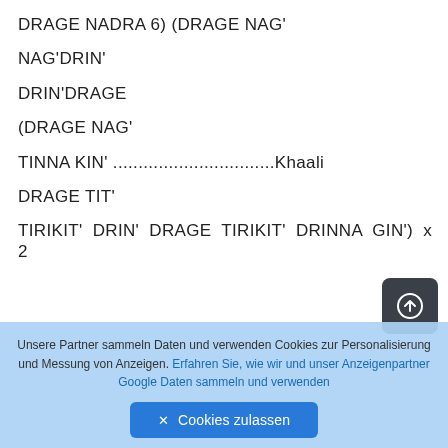DRAGE NADRA 6) (DRAGE NAG'
NAG'DRIN'
DRIN'DRAGE
(DRAGE NAG'
TINNA KIN' ................................Khaali
DRAGE TIT'
TIRIKIT'  DRIN'  DRAGE  TIRIKIT'  DRINNA  GIN')  x  2
Unsere Partner sammeln Daten und verwenden Cookies zur Personalisierung und Messung von Anzeigen. Erfahren Sie, wie wir und unser Anzeigenpartner Google Daten sammeln und verwenden
✕ Cookies zulassen